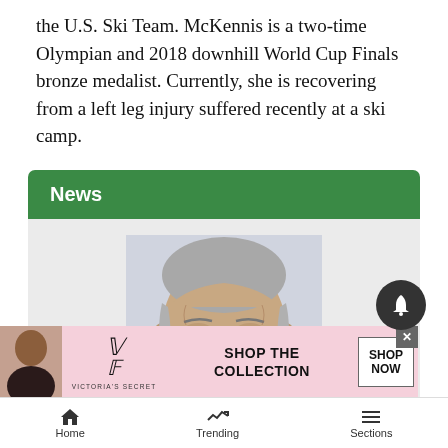the U.S. Ski Team. McKennis is a two-time Olympian and 2018 downhill World Cup Finals bronze medalist. Currently, she is recovering from a left leg injury suffered recently at a ski camp.
News
[Figure (photo): Headshot photo of an older man with gray hair against a light gray background]
[Figure (infographic): Victoria's Secret advertisement banner: 'SHOP THE COLLECTION' with SHOP NOW button]
Home   Trending   Sections